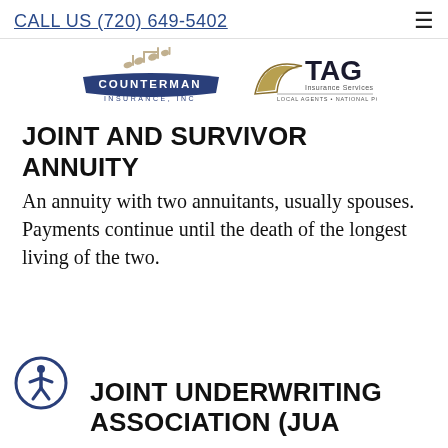CALL US (720) 649-5402
[Figure (logo): Counterman Insurance, Inc. logo with musical notes]
[Figure (logo): TAG Insurance Services logo — Local Agents, National Power]
JOINT AND SURVIVOR ANNUITY
An annuity with two annuitants, usually spouses. Payments continue until the death of the longest living of the two.
[Figure (illustration): Accessibility icon — person in circle]
JOINT UNDERWRITING ASSOCIATION (JUA